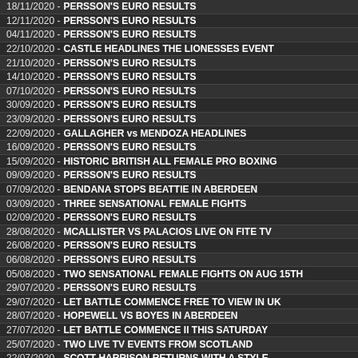18/11/2020 - PERSSON'S EURO RESULTS
12/11/2020 - PERSSON'S EURO RESULTS
04/11/2020 - PERSSON'S EURO RESULTS
22/10/2020 - CASTLE HEADLINES THE LIONESSES EVENT
21/10/2020 - PERSSON'S EURO RESULTS
14/10/2020 - PERSSON'S EURO RESULTS
07/10/2020 - PERSSON'S EURO RESULTS
30/09/2020 - PERSSON'S EURO RESULTS
23/09/2020 - PERSSON'S EURO RESULTS
22/09/2020 - GALLAGHER vs MENDOZA HEADLINES
16/09/2020 - PERSSON'S EURO RESULTS
15/09/2020 - HISTORIC BRITISH ALL FEMALE PRO BOXING
09/09/2020 - PERSSON'S EURO RESULTS
07/09/2020 - BENDANA STOPS BEATTIE IN ABERDEEN
03/09/2020 - THREE SENSATIONAL FEMALE FIGHTS
02/09/2020 - PERSSON'S EURO RESULTS
28/08/2020 - MCALLISTER VS PALACIOS LIVE ON FITE TV
26/08/2020 - PERSSON'S EURO RESULTS
06/08/2020 - PERSSON'S EURO RESULTS
05/08/2020 - TWO SENSATIONAL FEMALE FIGHTS ON AUG 15TH
29/07/2020 - PERSSON'S EURO RESULTS
29/07/2020 - LET BATTLE COMMENCE FREE TO VIEW IN UK
28/07/2020 - HOPEWELL VS BOYES IN ABERDEEN
27/07/2020 - LET BATTLE COMMENCE II THIS SATURDAY
25/07/2020 - TWO LIVE TV EVENTS FROM SCOTLAND
22/07/2020 - SCOTT HARRISON RETURNS WITH A STYLE
19/07/2020 - PERSSON'S EURO RESULTS